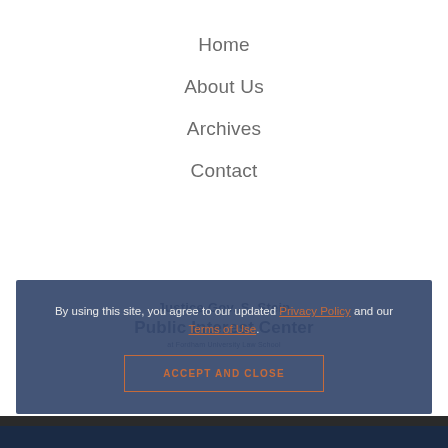Home
About Us
Archives
Contact
By using this site, you agree to our updated Privacy Policy and our Terms of Use.
ACCEPT AND CLOSE